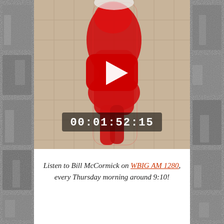[Figure (screenshot): YouTube video thumbnail showing a person in a red outfit, with a YouTube play button overlay and timecode 00:01:52:15 displayed at bottom center. Side strips show grainy black-and-white photos.]
Listen to Bill McCormick on WBIG AM 1280, every Thursday morning around 9:10!